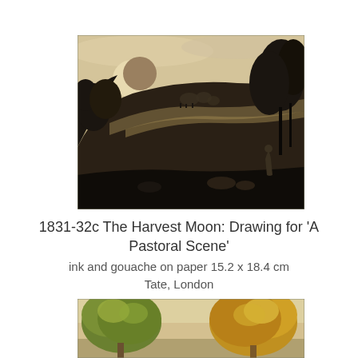[Figure (illustration): A sepia-toned ink and gouache artwork depicting a pastoral night scene with a crescent moon, dark rolling hills covered with trees, small figures in the distance on a moonlit path, and a single figure standing in the foreground right.]
1831-32c The Harvest Moon: Drawing for 'A Pastoral Scene'
ink and gouache on paper 15.2 x 18.4 cm
Tate, London
[Figure (illustration): Bottom portion of a second artwork showing trees with yellow-green and golden foliage against a warm beige background, partially cropped at the bottom of the page.]